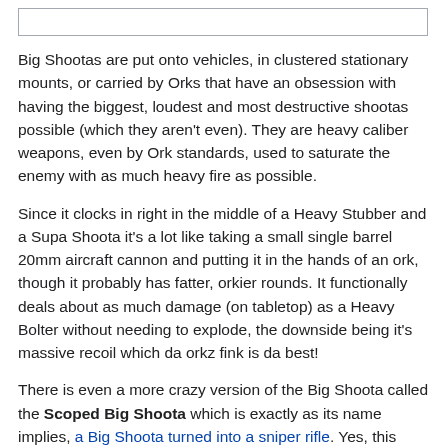[Figure (other): Top border bar / image placeholder area]
Big Shootas are put onto vehicles, in clustered stationary mounts, or carried by Orks that have an obsession with having the biggest, loudest and most destructive shootas possible (which they aren't even). They are heavy caliber weapons, even by Ork standards, used to saturate the enemy with as much heavy fire as possible.
Since it clocks in right in the middle of a Heavy Stubber and a Supa Shoota it's a lot like taking a small single barrel 20mm aircraft cannon and putting it in the hands of an ork, though it probably has fatter, orkier rounds. It functionally deals about as much damage (on tabletop) as a Heavy Bolter without needing to explode, the downside being it's massive recoil which da orkz fink is da best!
There is even a more crazy version of the Big Shoota called the Scoped Big Shoota which is exactly as its name implies, a Big Shoota turned into a sniper rifle. Yes, this means that we have a